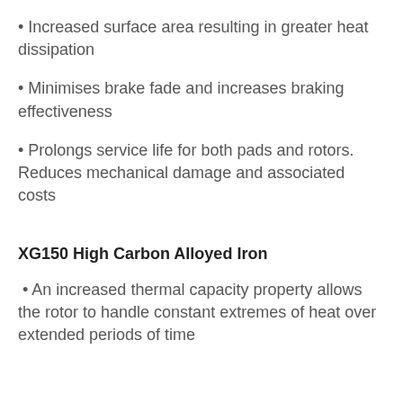Increased surface area resulting in greater heat dissipation
Minimises brake fade and increases braking effectiveness
Prolongs service life for both pads and rotors. Reduces mechanical damage and associated costs
XG150 High Carbon Alloyed Iron
An increased thermal capacity property allows the rotor to handle constant extremes of heat over extended periods of time